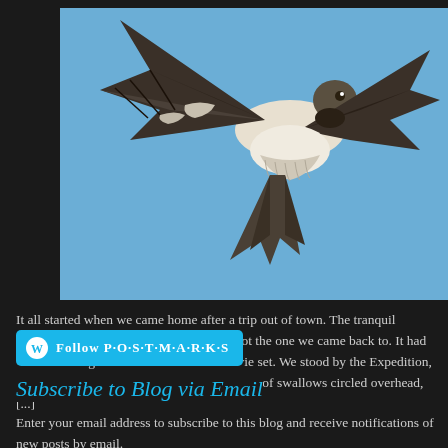[Figure (photo): A swallow bird photographed in flight against a blue sky, wings spread, viewed from below/front angle, showing dark wings with white patches and a forked tail.]
It all started when we came home after a trip out of town. The tranquil homestead we'd left two weeks ago was not the one we came back to. It had been transmogrified into a Hitchcock movie set. We stood by the Expedition, suitcases in hand, and watched as a squadron of swallows circled overhead, [...]
[Figure (other): WordPress Follow button - cyan/teal rounded rectangle button with WordPress 'W' logo icon and text 'Follow P·O·S·T·M·A·R·K·S']
Subscribe to Blog via Email
Enter your email address to subscribe to this blog and receive notifications of new posts by email.